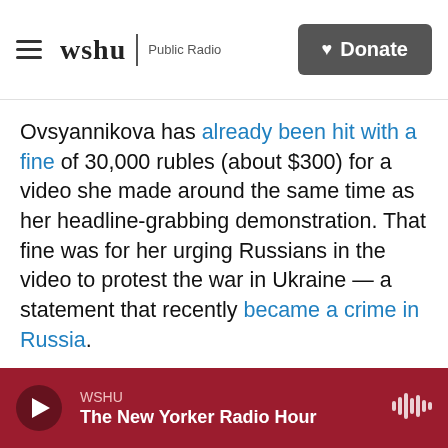WSHU Public Radio | Donate
Ovsyannikova has already been hit with a fine of 30,000 rubles (about $300) for a video she made around the same time as her headline-grabbing demonstration. That fine was for her urging Russians in the video to protest the war in Ukraine — a statement that recently became a crime in Russia.
The new proceeding in Moscow's Ostankino District Court centers on what Ovsyannikova did during a news program on March 16, when she walked behind a Channel One anchor while holding a sign reading "No War" and telling viewers they were
WSHU | The New Yorker Radio Hour